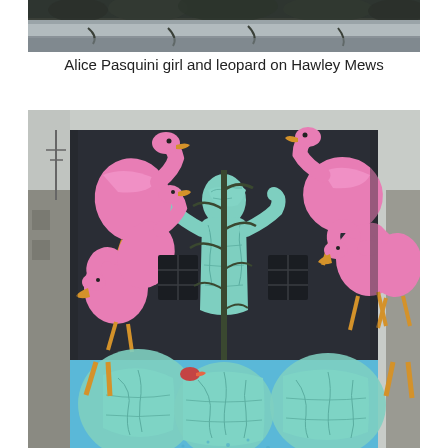[Figure (photo): Top portion of a street art mural photograph showing texture of a wall with foliage/trees at the top edge]
Alice Pasquini girl and leopard on Hawley Mews
[Figure (photo): Street art mural on a dark building facade showing large pink flamingos surrounding a central turquoise cracked-texture figure (girl/leopard), with a tree growing in front. The lower section shows a blue wall mural with more turquoise cracked leaf/figure patterns and orange flamingo legs.]